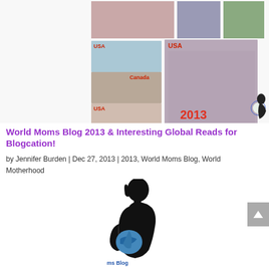[Figure (photo): Collage of travel photos with USA, Canada, Singapore location tags and the year 2013 displayed in red. Multiple photos of women in various travel locations are arranged in a grid layout with a small World Moms Blog pregnant silhouette logo.]
World Moms Blog 2013 & Interesting Global Reads for Blogcation!
by Jennifer Burden | Dec 27, 2013 | 2013, World Moms Blog, World Motherhood
[Figure (logo): World Moms Blog logo — black silhouette of a pregnant woman with a globe/world map on the belly, with 'Moms Blog' text curved around it.]